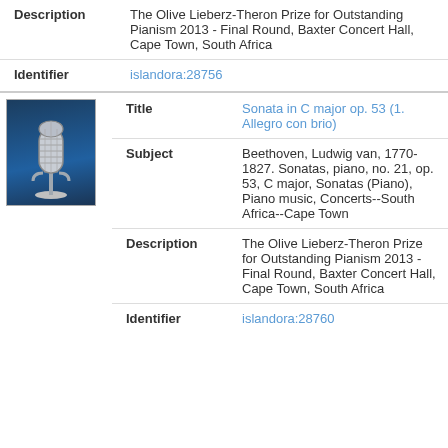| Field | Value |
| --- | --- |
| Description | The Olive Lieberz-Theron Prize for Outstanding Pianism 2013 - Final Round, Baxter Concert Hall, Cape Town, South Africa |
| Identifier | islandora:28756 |
[Figure (photo): Thumbnail image of a vintage microphone on a dark blue background]
| Field | Value |
| --- | --- |
| Title | Sonata in C major op. 53 (1. Allegro con brio) |
| Subject | Beethoven, Ludwig van, 1770-1827. Sonatas, piano, no. 21, op. 53, C major, Sonatas (Piano), Piano music, Concerts--South Africa--Cape Town |
| Description | The Olive Lieberz-Theron Prize for Outstanding Pianism 2013 - Final Round, Baxter Concert Hall, Cape Town, South Africa |
| Identifier | islandora:28760 |